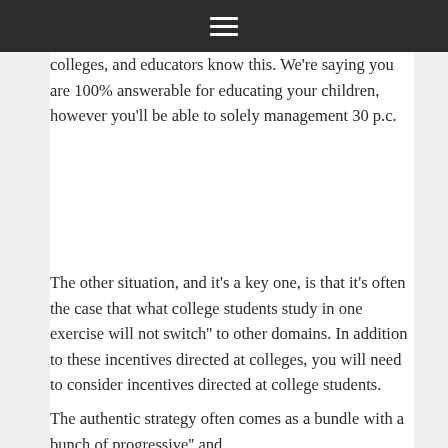☰
colleges, and educators know this. We're saying you are 100% answerable for educating your children, however you'll be able to solely management 30 p.c.
The other situation, and it's a key one, is that it's often the case that what college students study in one exercise will not switch'' to other domains. In addition to these incentives directed at colleges, you will need to consider incentives directed at college students.
The authentic strategy often comes as a bundle with a bunch of progressive'' and